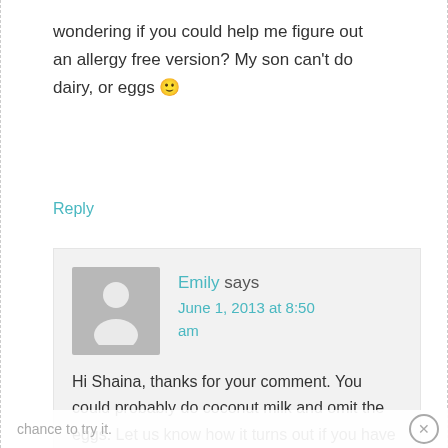wondering if you could help me figure out an allergy free version? My son can’t do dairy, or eggs 🙂
Reply
Emily says June 1, 2013 at 8:50 am
Hi Shaina, thanks for your comment. You could probably do coconut milk and omit the eggs. Let us know how it turns out if you have a
chance to try it.